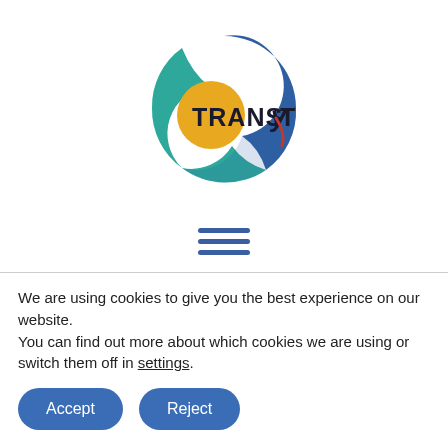[Figure (logo): TRANSYT logo with blue, teal, and gold circular swoosh elements and red T accent]
[Figure (other): Hamburger menu icon with three horizontal blue lines]
Associate Professor
Dept. Transport Engineering, Territory and
We are using cookies to give you the best experience on our website.
You can find out more about which cookies we are using or switch them off in settings.
Accept
Reject